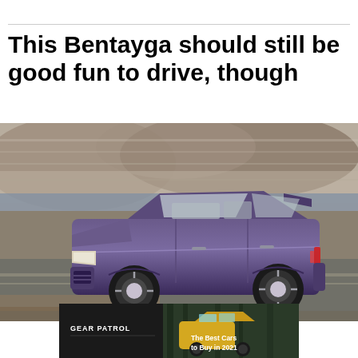This Bentayga should still be good fun to drive, though
[Figure (photo): Side profile of a purple/violet Bentley Bentayga SUV driving on a road with rocky mountainous terrain in the background, motion blur visible]
[Figure (photo): Gear Patrol advertisement banner showing a yellow SUV in a forest setting with text 'The Best Cars to Buy in 2021']